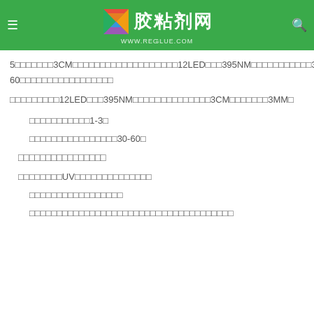[Figure (logo): 胶粘剂网 logo with colorful Z icon and green header background, www.re glue.com URL]
5□□□□□□□3CM□□□□□□□□□□□□□□□□□□□12LED□□□395NM□□□□□□□□□□□30-60□□□□□□□□□□□□□□□□□
□□□□□□□□□12LED□□□395NM□□□□□□□□□□□□□□3CM□□□□□□□3MM□
□□□□□□□□□□□1-3□
□□□□□□□□□□□□□□□□30-60□
□□□□□□□□□□□□□□□□
□□□□□□□□UV□□□□□□□□□□□□□□
□□□□□□□□□□□□□□□□□
□□□□□□□□□□□□□□□□□□□□□□□□□□□□□□□□□□□□□